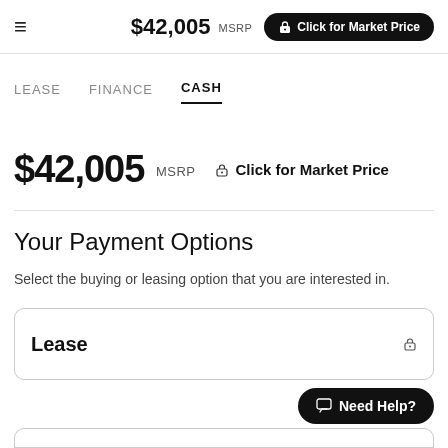$42,005 MSRP  Click for Market Price
LEASE  FINANCE  CASH
$42,005 MSRP  Click for Market Price
Your Payment Options
Select the buying or leasing option that you are interested in.
Lease
Need Help?